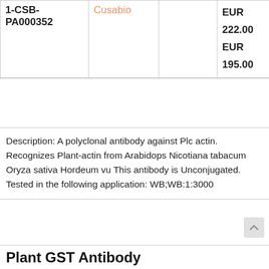| ID | Brand |  | Price |
| --- | --- | --- | --- |
| 1-CSB-PA000352 | Cusabio |  | EUR 222.00
EUR 195.00 |
Description: A polyclonal antibody against Plc actin. Recognizes Plant-actin from Arabidops Nicotiana tabacum Oryza sativa Hordeum vu This antibody is Unconjugated. Tested in the following application: WB;WB:1:3000
Plant GST Antibody